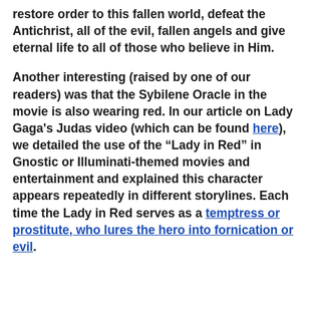restore order to this fallen world, defeat the Antichrist, all of the evil, fallen angels and give eternal life to all of those who believe in Him.
Another interesting (raised by one of our readers) was that the Sybilene Oracle in the movie is also wearing red. In our article on Lady Gaga's Judas video (which can be found here), we detailed the use of the "Lady in Red" in Gnostic or Illuminati-themed movies and entertainment and explained this character appears repeatedly in different storylines. Each time the Lady in Red serves as a temptress or prostitute, who lures the hero into fornication or evil.